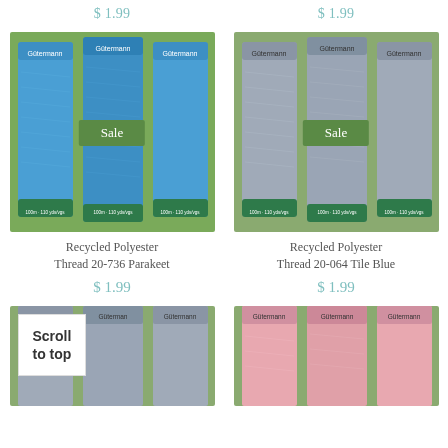$ 1.99
$ 1.99
[Figure (photo): Three spools of Gütermann Recycled Polyester Thread in blue (Parakeet) with green Sale badge]
[Figure (photo): Three spools of Gütermann Recycled Polyester Thread in grey-blue (Tile Blue) with green Sale badge]
Recycled Polyester Thread 20-736 Parakeet
Recycled Polyester Thread 20-064 Tile Blue
$ 1.99
$ 1.99
[Figure (photo): Three spools of Gütermann thread in light blue, partially obscured by Scroll to top overlay]
[Figure (photo): Three spools of Gütermann thread in pink]